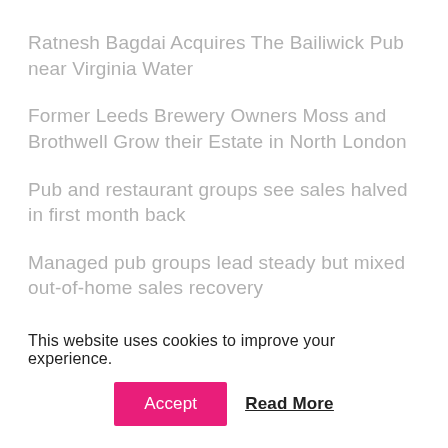Ratnesh Bagdai Acquires The Bailiwick Pub near Virginia Water
Former Leeds Brewery Owners Moss and Brothwell Grow their Estate in North London
Pub and restaurant groups see sales halved in first month back
Managed pub groups lead steady but mixed out-of-home sales recovery
Pub and restaurant groups continue to nudge up sales as more sites reopen
This website uses cookies to improve your experience.
Accept  Read More